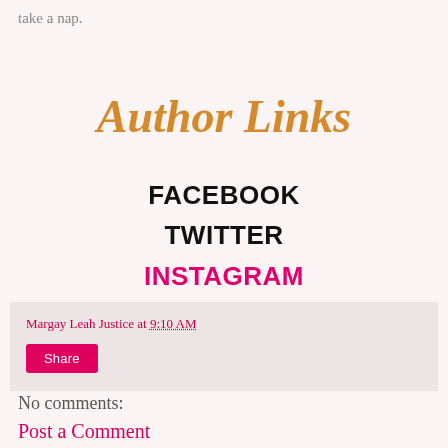take a nap.
Author Links
FACEBOOK
TWITTER
INSTAGRAM
Margay Leah Justice at 9:10 AM
Share
No comments:
Post a Comment